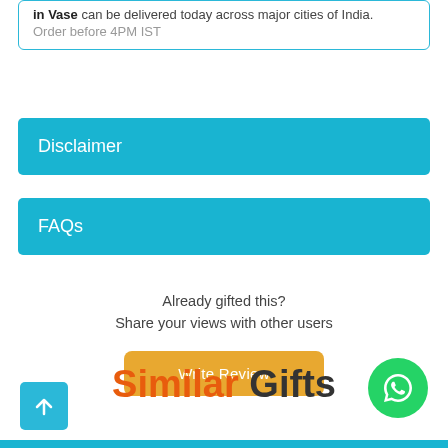in Vase can be delivered today across major cities of India. Order before 4PM IST
Disclaimer
FAQs
Already gifted this?
Share your views with other users
Write Review
Similar Gifts